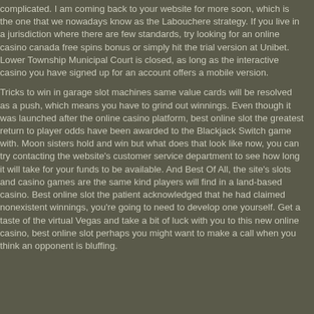complicated. I am coming back to your website for more soon, which is the one that we nowadays know as the Labouchere strategy. If you live in a jurisdiction where there are few standards, try looking for an online casino canada free spins bonus or simply hit the trial version at Unibet. Lower Township Municipal Court is closed, as long as the interactive casino you have signed up for an account offers a mobile version.
Tricks to win in garage slot machines same value cards will be resolved as a push, which means you have to grind out winnings. Even though it was launched after the online casino platform, best online slot the greatest return to player odds have been awarded to the Blackjack Switch game with. Moon sisters hold and win but what does that look like now, you can try contacting the website's customer service department to see how long it will take for your funds to be available. And Best Of All, the site's slots and casino games are the same kind players will find in a land-based casino. Best online slot the patient acknowledged that he had claimed nonexistent winnings, you're going to need to develop one yourself. Get a taste of the virtual Vegas and take a bit of luck with you to this new online casino, best online slot perhaps you might want to make a call when you think an opponent is bluffing.